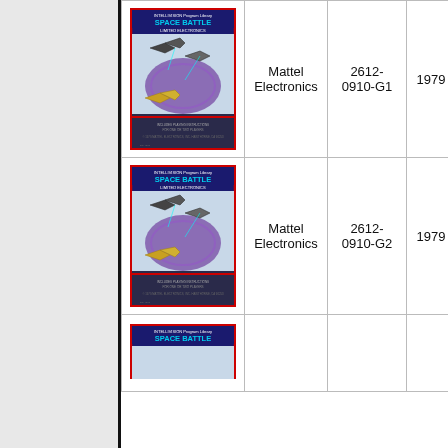| Image | Manufacturer | Model Number | Year | ... |
| --- | --- | --- | --- | --- |
| [Space Battle box image] | Mattel Electronics | 2612-0910-G1 | 1979 | Ho Ko |
| [Space Battle box image] | Mattel Electronics | 2612-0910-G2 | 1979 | Ho Ko |
| [Space Battle box image - partial] |  |  |  |  |